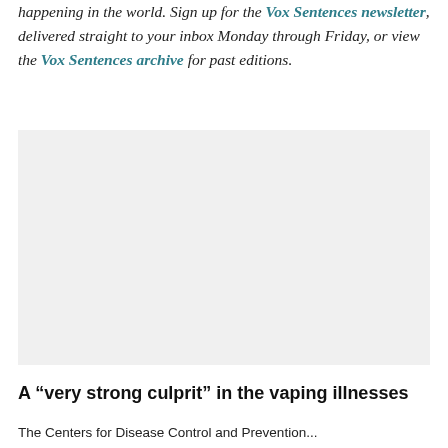Vox Sentences is your daily digest for what's happening in the world. Sign up for the Vox Sentences newsletter, delivered straight to your inbox Monday through Friday, or view the Vox Sentences archive for past editions.
[Figure (photo): A large image placeholder (light gray background) representing an embedded photo or illustration on the page.]
A “very strong culprit” in the vaping illnesses
The Centers for Disease Control and Prevention...